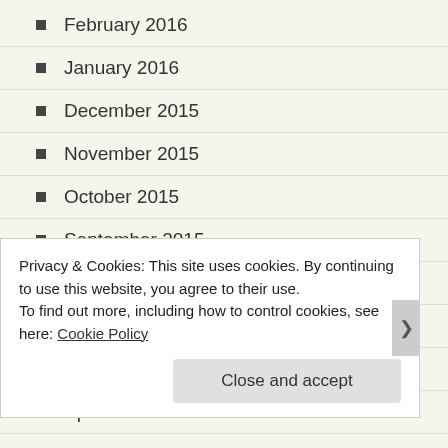February 2016
January 2016
December 2015
November 2015
October 2015
September 2015
August 2015
June 2015
May 2015
April 2015
Privacy & Cookies: This site uses cookies. By continuing to use this website, you agree to their use.
To find out more, including how to control cookies, see here: Cookie Policy